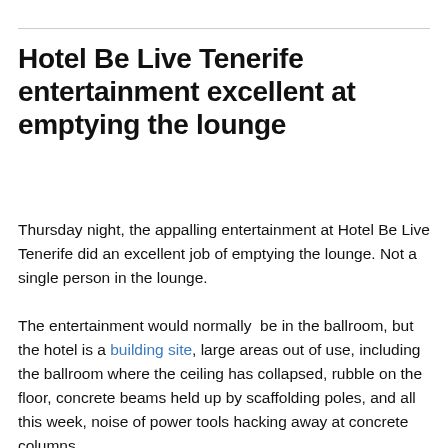Hotel Be Live Tenerife entertainment excellent at emptying the lounge
Thursday night, the appalling entertainment at Hotel Be Live Tenerife did an excellent job of emptying the lounge. Not a single person in the lounge.
The entertainment would normally  be in the ballroom, but the hotel is a building site, large areas out of use, including the ballroom where the ceiling has collapsed, rubble on the floor, concrete beams held up by scaffolding poles, and all this week, noise of power tools hacking away at concrete columns.